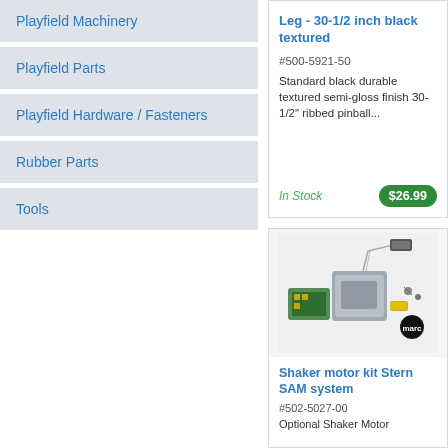Playfield Machinery
Playfield Parts
Playfield Hardware / Fasteners
Rubber Parts
Tools
Leg - 30-1/2 inch black textured
#500-5921-50
Standard black durable textured semi-gloss finish 30-1/2" ribbed pinball...
In Stock
$26.99
[Figure (photo): Shaker motor kit components including circuit board, motor housing, and assorted hardware pieces]
Shaker motor kit Stern SAM system
#502-5027-00
Optional Shaker Motor